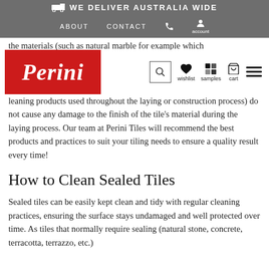WE DELIVER AUSTRALIA WIDE | ABOUT | CONTACT
[Figure (logo): Perini logo — white italic text on red background]
the materials (such as natural marble for example which cleaning products used throughout the laying or construction process) do not cause any damage to the finish of the tile's material during the laying process. Our team at Perini Tiles will recommend the best products and practices to suit your tiling needs to ensure a quality result every time!
How to Clean Sealed Tiles
Sealed tiles can be easily kept clean and tidy with regular cleaning practices, ensuring the surface stays undamaged and well protected over time. As tiles that normally require sealing (natural stone, concrete, terracotta, terrazzo, etc.)